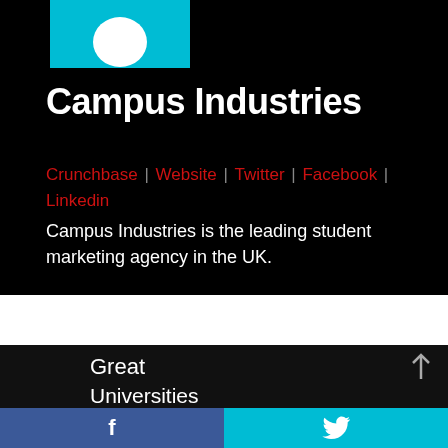[Figure (logo): Campus Industries logo — teal/cyan background with partial white circle]
Campus Industries
Crunchbase | Website | Twitter | Facebook | Linkedin
Campus Industries is the leading student marketing agency in the UK.
Great
Universities
f  (Facebook share button)
(Twitter bird icon — share button)